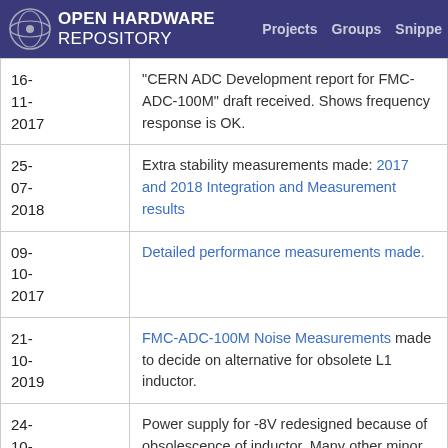OPEN HARDWARE REPOSITORY  Projects  Groups  Snippe
| Date | Description |
| --- | --- |
| 16-11-2017 | "CERN ADC Development report for FMC-ADC-100M" draft received. Shows frequency response is OK. |
| 25-07-2018 | Extra stability measurements made: 2017 and 2018 Integration and Measurement results |
| 09-10-2017 | Detailed performance measurements made. |
| 21-10-2019 | FMC-ADC-100M Noise Measurements made to decide on alternative for obsolete L1 inductor. |
| 24-10-2019 | Power supply for -8V redesigned because of obsolescence of inductor. Many other minor issues handled in V6-0. |